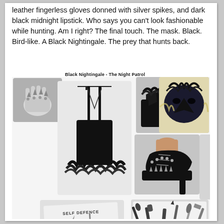leather fingerless gloves donned with silver spikes, and dark black midnight lipstick. Who says you can't look fashionable while hunting. Am I right? The final touch. The mask. Black. Bird-like. A Black Nightingale. The prey that hunts back.
Black Nightingale - The Night Patrol
[Figure (photo): Fashion mood board collage for 'Black Nightingale - The Night Patrol' featuring: spiked leather fingerless gloves, black feather-trim slip dress, black feather-collar leather jacket, bird beak mask worn by a blonde woman, spiked studded black platform heels, black lipstick, self defence tools image, and a collection of makeup/mascara tools.]